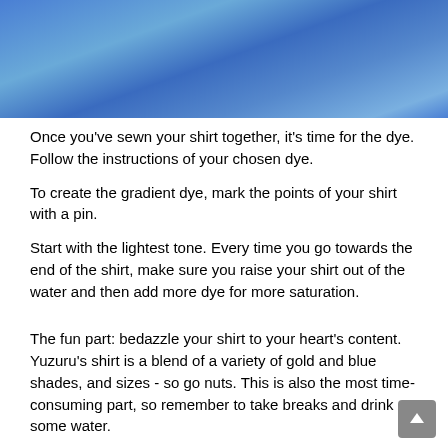[Figure (photo): Close-up photo of a blue dyed fabric shirt with shiny gradient folds]
Once you've sewn your shirt together, it's time for the dye. Follow the instructions of your chosen dye.
To create the gradient dye, mark the points of your shirt with a pin.
Start with the lightest tone. Every time you go towards the end of the shirt, make sure you raise your shirt out of the water and then add more dye for more saturation.
The fun part: bedazzle your shirt to your heart's content. Yuzuru's shirt is a blend of a variety of gold and blue shades, and sizes - so go nuts. This is also the most time-consuming part, so remember to take breaks and drink some water.
And here's the final result of my interpretation of Yuzuru Hanyu's Chopin shirt